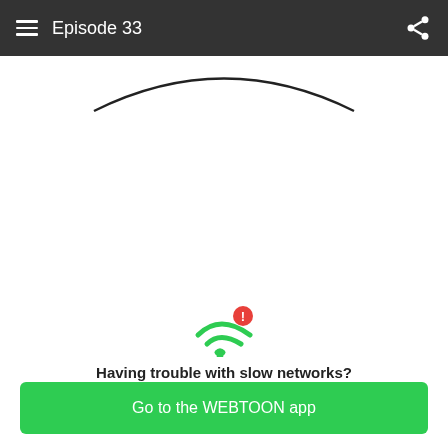Episode 33
[Figure (illustration): Partial view of a comic/webtoon panel — top arc outline of a character's head visible at the top, another arc outline at the bottom left, white background.]
[Figure (infographic): Green WiFi icon with a red exclamation mark badge in the top right corner, indicating a network error.]
Having trouble with slow networks?
Download stories on your phone and read offline!
Go to the WEBTOON app